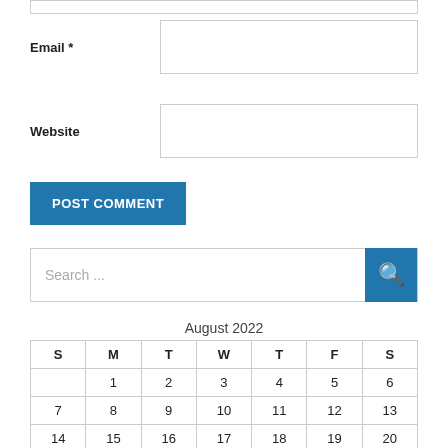Email *
Website
POST COMMENT
Search ...
August 2022
| S | M | T | W | T | F | S |
| --- | --- | --- | --- | --- | --- | --- |
|  | 1 | 2 | 3 | 4 | 5 | 6 |
| 7 | 8 | 9 | 10 | 11 | 12 | 13 |
| 14 | 15 | 16 | 17 | 18 | 19 | 20 |